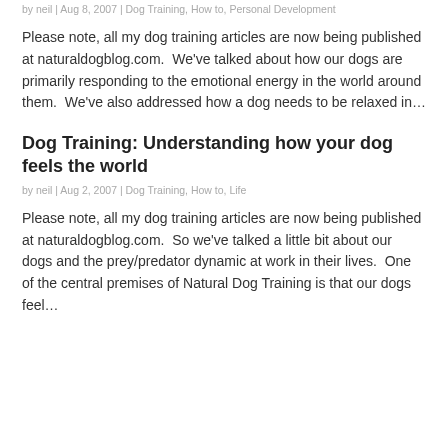by neil | Aug 8, 2007 | Dog Training, How to, Personal Development
Please note, all my dog training articles are now being published at naturaldogblog.com.  We've talked about how our dogs are primarily responding to the emotional energy in the world around them.  We've also addressed how a dog needs to be relaxed in…
Dog Training: Understanding how your dog feels the world
by neil | Aug 2, 2007 | Dog Training, How to, Life
Please note, all my dog training articles are now being published at naturaldogblog.com.  So we've talked a little bit about our dogs and the prey/predator dynamic at work in their lives.  One of the central premises of Natural Dog Training is that our dogs feel…